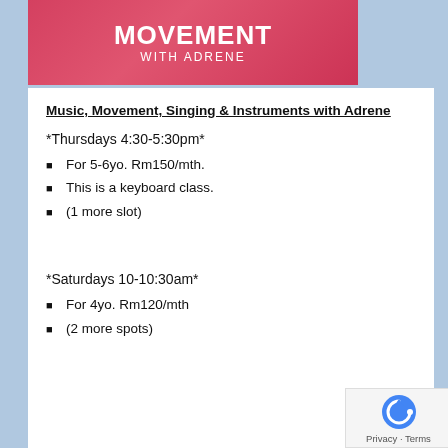[Figure (illustration): Banner image with pink/red background showing 'MOVEMENT WITH ADRENE' text in white]
Music, Movement, Singing & Instruments with Adrene
*Thursdays 4:30-5:30pm*
For 5-6yo. Rm150/mth.
This is a keyboard class.
(1 more slot)
*Saturdays 10-10:30am*
For 4yo. Rm120/mth
(2 more spots)